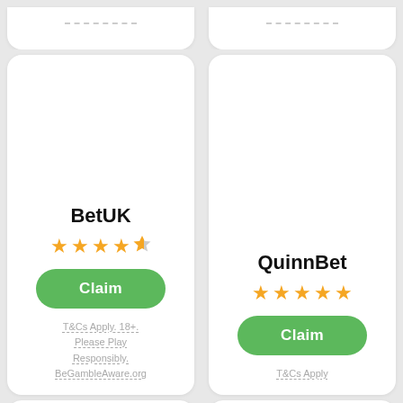[Figure (screenshot): Top partial card left - dashed line strip at top]
[Figure (screenshot): Top partial card right - dashed line strip at top]
[Figure (screenshot): BetUK card with 4.5 star rating, Claim button, T&Cs Apply. 18+. Please Play Responsibly. BeGambleAware.org]
[Figure (screenshot): QuinnBet card with 5 star rating, Claim button, T&Cs Apply]
[Figure (screenshot): Bottom partial card left - partially visible]
[Figure (screenshot): Bottom partial card right - partially visible, up arrow button in bottom right]